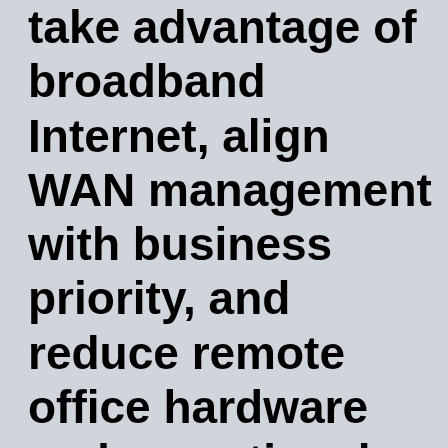take advantage of broadband Internet, align WAN management with business priority, and reduce remote office hardware and operational costs.